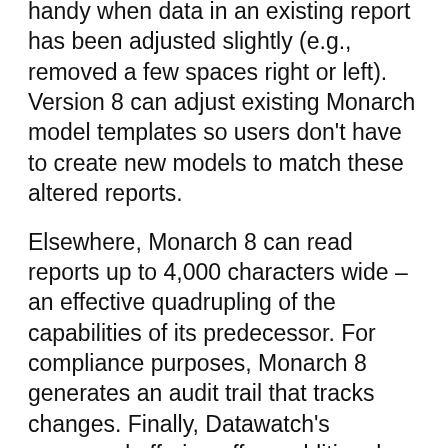handy when data in an existing report has been adjusted slightly (e.g., removed a few spaces right or left). Version 8 can adjust existing Monarch model templates so users don't have to create new models to match these altered reports.
Elsewhere, Monarch 8 can read reports up to 4,000 characters wide – an effective quadrupling of the capabilities of its predecessor. For compliance purposes, Monarch 8 generates an audit trail that tracks changes. Finally, Datawatch's revamped offering offers additional calculated field functions, giving users the ability to easily work with memo fields. It supports user-edited fields so users can add their own customized text comments, numeric values, and dates.
Monarch 8 is available in both Standard and Professional Editions. The Standard Edition uses reports as a source of data, while the Professional